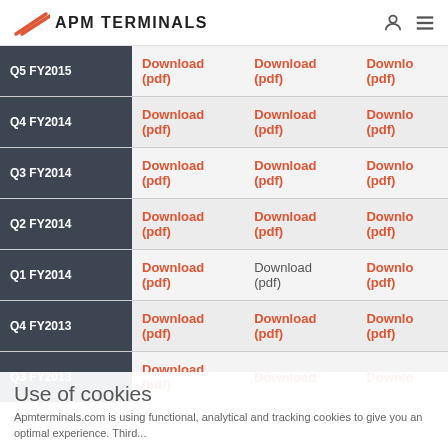APM TERMINALS
| Quarter | Download 1 | Download 2 | Download 3 |
| --- | --- | --- | --- |
| Q5 FY2015 | Download (pdf) | Download (pdf) | Download (pdf) |
| Q4 FY2014 | Download (pdf) | Download (pdf) | Download (pdf) |
| Q3 FY2014 | Download (pdf) | Download (pdf) | Download (pdf) |
| Q2 FY2014 | Download (pdf) | Download (pdf) | Download (pdf) |
| Q1 FY2014 | Download (pdf) | Download (pdf) | Download (pdf) |
| Q4 FY2013 | Download (pdf) | Download (pdf) | Download (pdf) |
| Q3 FY2013 | Download (pdf) | Download (pdf) | Download (pdf) |
Use of cookies
Apmterminals.com is using functional, analytical and tracking cookies to give you an optimal experience. Third...